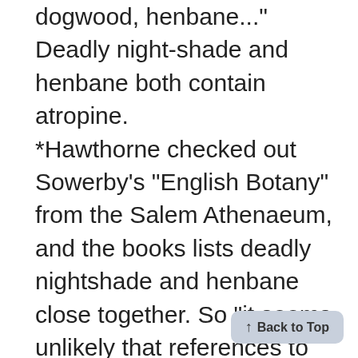dogwood, henbane..." Deadly nightshade and henbane both contain atropine. *Hawthorne checked out Sowerby's "English Botany" from the Salem Athenaeum, and the books lists deadly nightshade and henbane close together. So "it seems unlikely that references to the same toxic plants in 'The Scarlet Letter' are merely coincidental." .Atropine poisoning causes effects that, "to a remarkable degree," are described in the novel. Among those demonstrated by Dimmesdale are a
Back to Top